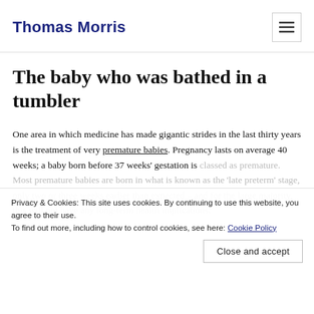Thomas Morris
The baby who was bathed in a tumbler
One area in which medicine has made gigantic strides in the last thirty years is the treatment of very premature babies. Pregnancy lasts on average 40 weeks; a baby born before 37 weeks' gestation is classed as premature. Most premature babies are born in what is known as the 'late preterm' stage, only two or three weeks earlier than expected – and for the large majority, this will not have any long-term health implications.
Privacy & Cookies: This site uses cookies. By continuing to use this website, you agree to their use. To find out more, including how to control cookies, see here: Cookie Policy